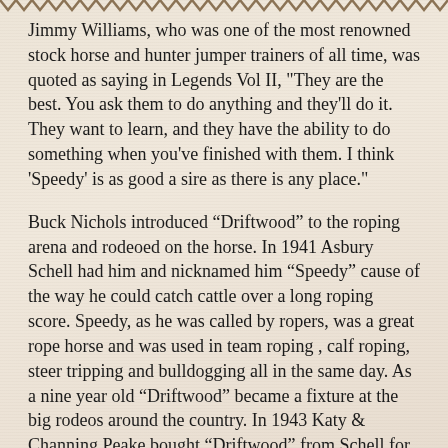Jimmy Williams, who was one of the most renowned stock horse and hunter jumper trainers of all time, was quoted as saying in Legends Vol II, "They are the best. You ask them to do anything and they'll do it. They want to learn, and they have the ability to do something when you've finished with them. I think 'Speedy' is as good a sire as there is any place."
Buck Nichols introduced “Driftwood” to the roping arena and rodeoed on the horse. In 1941 Asbury Schell had him and nicknamed him “Speedy” cause of the way he could catch cattle over a long roping score. Speedy, as he was called by ropers, was a great rope horse and was used in team roping , calf roping, steer tripping and bulldogging all in the same day. As a nine year old “Driftwood” became a fixture at the big rodeos around the country. In 1943 Katy & Channing Peake bought “Driftwood” from Schell for $1,500 and moved him to Rancho Jabali where they registered him with the AQHA and was retired to stud.
Driftwood stood anywhere from 14.3 to 15 hands and